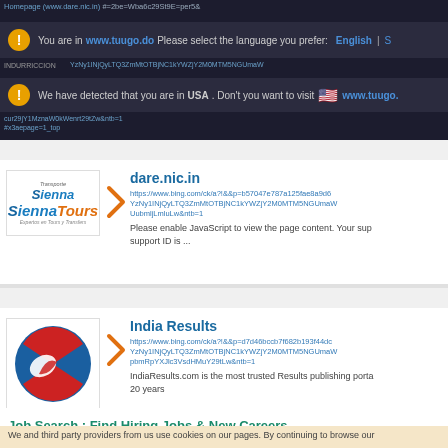Homepage (www.dare.nic.in) URL truncated
You are in www.tuugo.do Please select the language you prefer: English |
We have detected that you are in USA. Don't you want to visit www.tuugo...
URL strings: YzNy1INjQyLTQ3ZmMtOTBjNC1kYWZjY2M0MTM5NGUmaW... cur29jY1MznaW0kWenrt29tZw&ntb=1 #x3aepage=1_top
dare.nic.in
https://www.bing.com/ck/a?!&&p=b57047e787a125fae8a9d6... YzNy1INjQyLTQ3ZmMtOTBjNC1kYWZjY2M0MTM5NGUmaW... UubmljLmluLw&ntb=1
Please enable JavaScript to view the page content. Your sup support ID is ...
India Results
https://www.bing.com/ck/a?!&&p=d7d46bccb7f682b193f44dc... YzNy1INjQyLTQ3ZmMtOTBjNC1kYWZjY2M0MTM5NGUmaW... pbmRpYXJlc3VsdHMuY29tLw&ntb=1
IndiaResults.com is the most trusted Results publishing porta... 20 years
Job Search : Find Hiring Jobs & New Careers
We and third party providers from us use cookies on our pages. By continuing to browse our